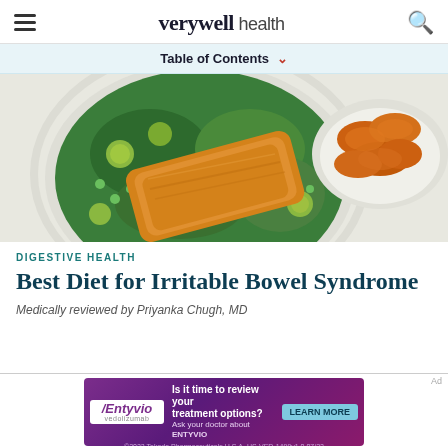verywell health
Table of Contents
[Figure (photo): Overhead view of a plate with a salmon fillet on a bed of green salad with peas and brussels sprouts, alongside a bowl of roasted sweet potato slices on a white background.]
DIGESTIVE HEALTH
Best Diet for Irritable Bowel Syndrome
Medically reviewed by Priyanka Chugh, MD
[Figure (infographic): Advertisement banner for Entyvio (vedolizumab) by Takeda Pharmaceuticals. Text reads: Is it time to review your treatment options? Ask your doctor about ENTYVIO. LEARN MORE. ©2022 Takeda Pharmaceuticals U.S.A. US-VED-1499v1.0 07/22]